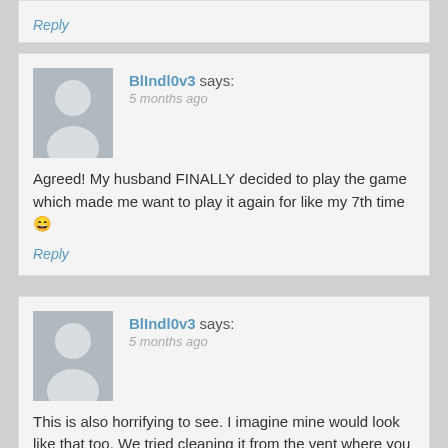Reply
BlIndl0v3 says: 5 months ago
Agreed! My husband FINALLY decided to play the game which made me want to play it again for like my 7th time 😄
Reply
BlIndl0v3 says: 5 months ago
This is also horrifying to see. I imagine mine would look like that too. We tried cleaning it from the vent where you connect the dryer, but we don't have that kind of equipment to reach deep inside the house like that.